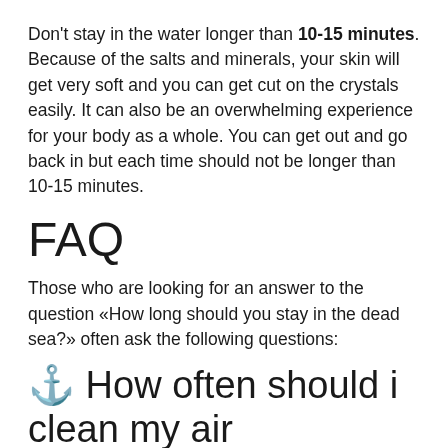Don't stay in the water longer than 10-15 minutes. Because of the salts and minerals, your skin will get very soft and you can get cut on the crystals easily. It can also be an overwhelming experience for your body as a whole. You can get out and go back in but each time should not be longer than 10-15 minutes.
FAQ
Those who are looking for an answer to the question «How long should you stay in the dead sea?» often ask the following questions:
⚓ How often should i clean my air conditioner sea strainer?